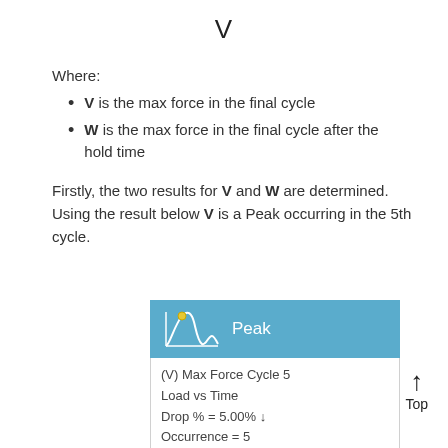V
Where:
V is the max force in the final cycle
W is the max force in the final cycle after the hold time
Firstly, the two results for V and W are determined. Using the result below V is a Peak occurring in the 5th cycle.
[Figure (illustration): A blue panel showing a waveform icon with a yellow peak marker and the label 'Peak' in white text]
(V) Max Force Cycle 5
Load vs Time
Drop % = 5.00% ↓
Occurrence = 5
Result: Load
X: From -- To --